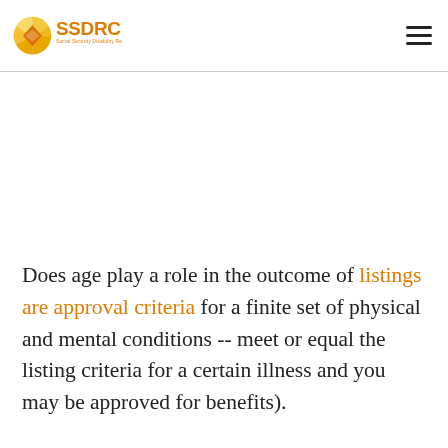[Figure (logo): SSDRC Social Security Disability Resource Center logo with circular segmented yellow/orange icon and orange SSDRC text]
Does age play a role in the outcome of listings are approval criteria for a finite set of physical and mental conditions -- meet or equal the listing criteria for a certain illness and you may be approved for benefits).